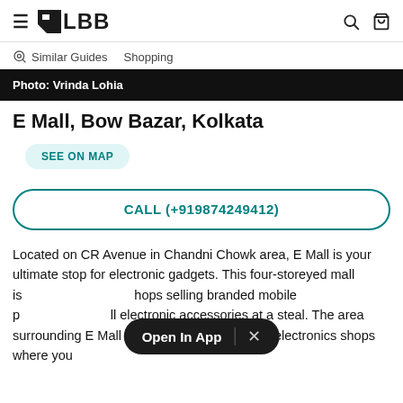≡ LBB  🔍 🛍
Similar Guides   Shopping
Photo: Vrinda Lohia
E Mall, Bow Bazar, Kolkata
SEE ON MAP
CALL (+919874249412)
Located on CR Avenue in Chandni Chowk area, E Mall is your ultimate stop for electronic gadgets. This four-storeyed mall is [Open In App ×] shops selling branded mobile phones, laptops and all electronic accessories at a steal. The area surrounding E Mall is flocked with street-side electronics shops where you